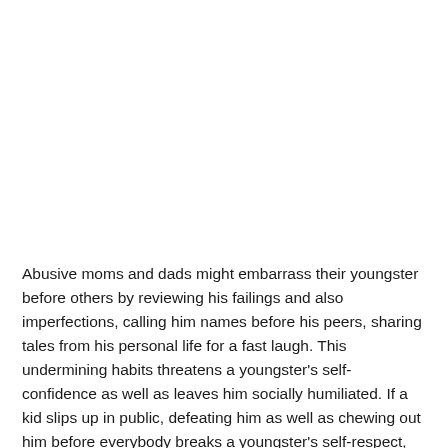Abusive moms and dads might embarrass their youngster before others by reviewing his failings and also imperfections, calling him names before his peers, sharing tales from his personal life for a fast laugh. This undermining habits threatens a youngster's self-confidence as well as leaves him socially humiliated. If a kid slips up in public, defeating him as well as chewing out him before everybody breaks a youngster's self-respect, leaving the youngster sensation embarrassed of his act before others.